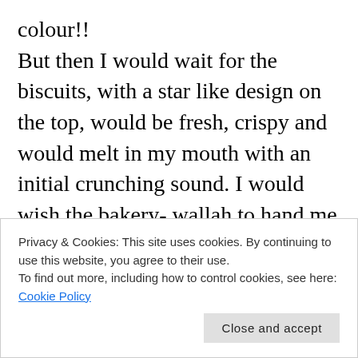colour!! But then I would wait for the biscuits, with a star like design on the top, would be fresh, crispy and would melt in my mouth with an initial crunching sound. I would wish the bakery- wallah to hand me over a few while I sat there but he would not. He would put, very deftly, tin trays inside the hot oven and bring them out after a while....changed in colour, texture and size! It was a miracle to watch. I wish my grandkids watch how biscuits
Privacy & Cookies: This site uses cookies. By continuing to use this website, you agree to their use.
To find out more, including how to control cookies, see here: Cookie Policy
Close and accept